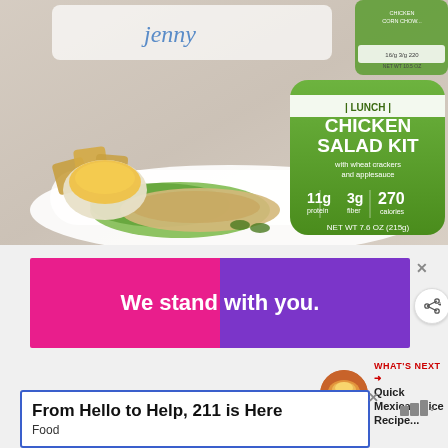[Figure (photo): Jenny Craig Chicken Salad Kit product photo showing a lunch tray with chicken salad on lettuce, wheat crackers, applesauce bowl, and a green package labeled LUNCH CHICKEN SALAD KIT with wheat crackers and applesauce. Package shows 11g protein, 3g fiber, 270 calories, NET WT 7.6 OZ (215g). Another product partially visible in top right.]
[Figure (screenshot): Advertisement banner with pink and purple gradient background reading 'We stand with you.' in white bold text.]
[Figure (screenshot): WHAT'S NEXT arrow promo showing Quick Mexican Rice Recipe thumbnail and title.]
[Figure (screenshot): Advertisement banner: 'From Hello to Help, 211 is Here' with subtitle 'Food']